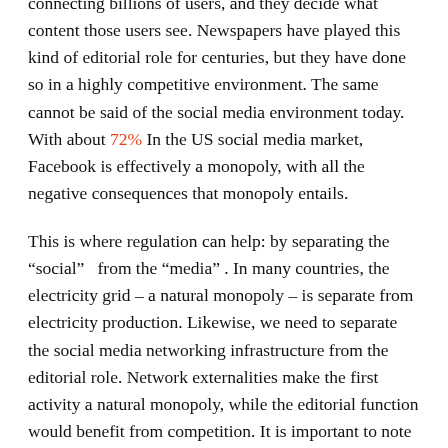Social media platforms play the roles they operate networks connecting billions of users, and they decide what content those users see. Newspapers have played this kind of editorial role for centuries, but they have done so in a highly competitive environment. The same cannot be said of the social media environment today. With about 72% In the US social media market, Facebook is effectively a monopoly, with all the negative consequences that monopoly entails.
This is where regulation can help: by separating the “social” from the “media”. In many countries, the electricity grid – a natural monopoly – is separate from electricity production. Likewise, we need to separate the social media networking infrastructure from the editorial role. Network externalities make the first activity a natural monopoly, while the editorial function would benefit from competition. It is important to note that the company managing the virtual grid should not be allowed to enter the publishing industry. This would allow it to kill all competition by subsidizing one activity with the other – exactly